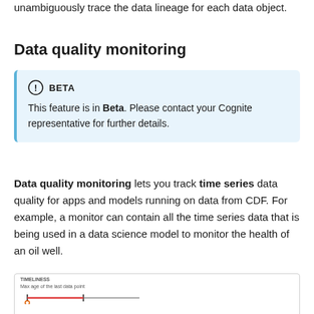unambiguously trace the data lineage for each data object.
Data quality monitoring
BETA
This feature is in Beta. Please contact your Cognite representative for further details.
Data quality monitoring lets you track time series data quality for apps and models running on data from CDF. For example, a monitor can contain all the time series data that is being used in a data science model to monitor the health of an oil well.
[Figure (screenshot): Screenshot of a TIMELINESS data quality monitoring panel showing a timeline with a missing last data point indicator]